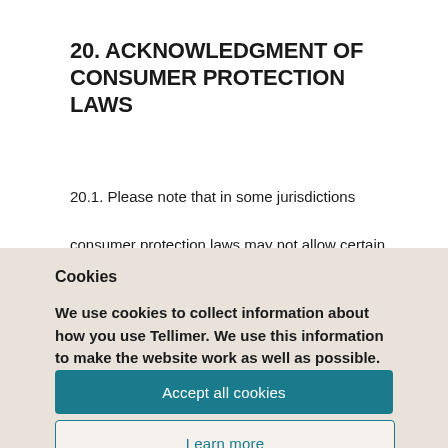20. ACKNOWLEDGMENT OF CONSUMER PROTECTION LAWS
20.1. Please note that in some jurisdictions consumer protection laws may not allow certain
Cookies
We use cookies to collect information about how you use Tellimer. We use this information to make the website work as well as possible.
Accept all cookies
Learn more